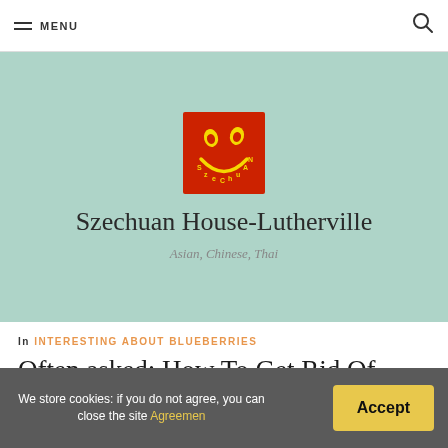MENU
[Figure (logo): Szechuan House restaurant logo: red square background with yellow smiley face made of Chinese characters]
Szechuan House-Lutherville
Asian, Chinese, Thai
In INTERESTING ABOUT BLUEBERRIES
Often asked: How To Get Rid Of Blueberry
We store cookies: if you do not agree, you can close the site Agreemen